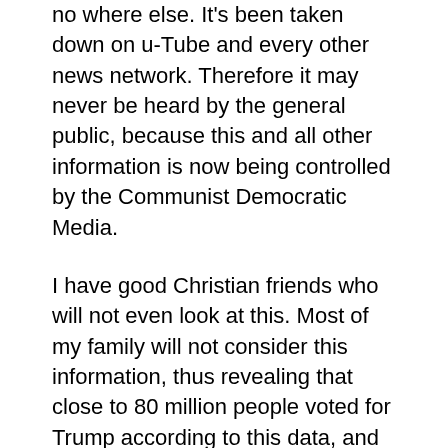no where else. It's been taken down on u-Tube and every other news network. Therefore it may never be heard by the general public, because this and all other information is now being controlled by the Communist Democratic Media.
I have good Christian friends who will not even look at this. Most of my family will not consider this information, thus revealing that close to 80 million people voted for Trump according to this data, and yet these are all being cancelled by the Chinese Communists and our (now their) bought and paid for, sold out large American Businesses and at the very least, enough American politicians to overwhelm any truth surrounding this matter.
This is totally a matter for the world to be informed...